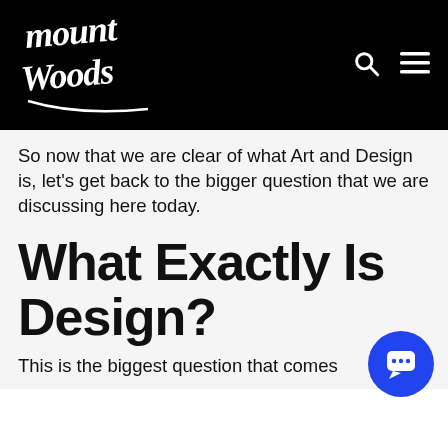[Figure (logo): Mount Woods logo in white script text on black background]
So now that we are clear of what Art and Design is, let’s get back to the bigger question that we are discussing here today.
What Exactly Is Design?
This is the biggest question that comes